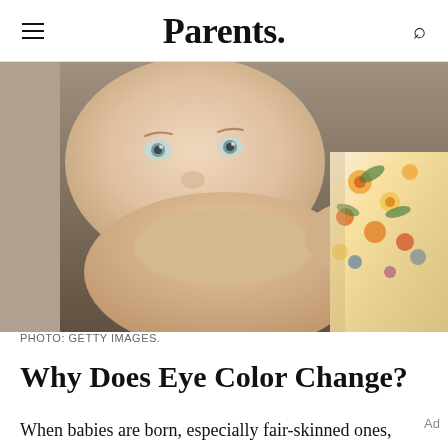Parents.
[Figure (photo): Close-up photo of a baby with light-colored eyes resting chin on arms, held by an adult wearing a floral shirt]
PHOTO: GETTY IMAGES.
Why Does Eye Color Change?
When babies are born, especially fair-skinned ones, their eyes are usually light-colored because